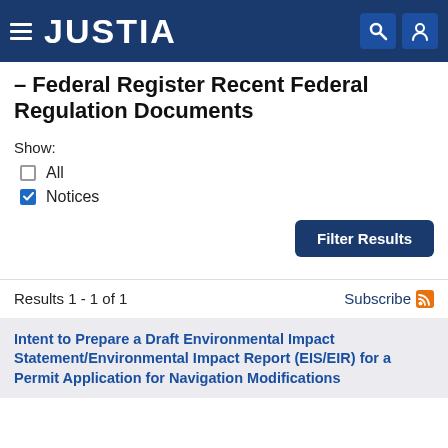JUSTIA
– Federal Register Recent Federal Regulation Documents
Show:
All
Notices
Filter Results
Results 1 - 1 of 1
Subscribe
Intent to Prepare a Draft Environmental Impact Statement/Environmental Impact Report (EIS/EIR) for a Permit Application for Navigation Modifications